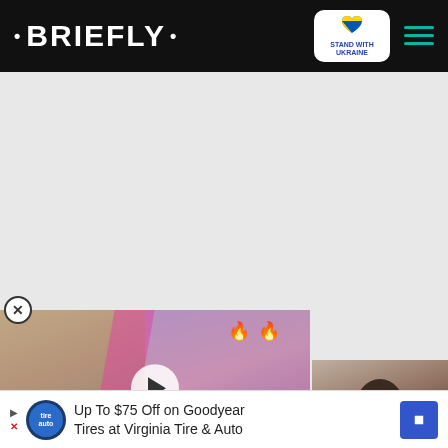• BRIEFLY • | STAND WITH UKRAINE
[Figure (screenshot): Gray empty content area below header]
[Figure (screenshot): Video ad overlay showing two men, one shirtless, with play button. Text banner reads ISN'T HE A CATCH? with close X button and down arrow.]
[Figure (photo): Right side partial photo showing person's head/shoulder against light background]
Up To $75 Off on Goodyear Tires at Virginia Tire & Auto